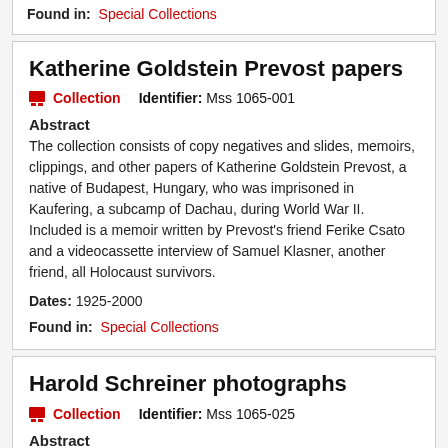Found in: Special Collections
Katherine Goldstein Prevost papers
Collection   Identifier: Mss 1065-001
Abstract
The collection consists of copy negatives and slides, memoirs, clippings, and other papers of Katherine Goldstein Prevost, a native of Budapest, Hungary, who was imprisoned in Kaufering, a subcamp of Dachau, during World War II. Included is a memoir written by Prevost's friend Ferike Csato and a videocassette interview of Samuel Klasner, another friend, all Holocaust survivors.
Dates: 1925-2000
Found in: Special Collections
Harold Schreiner photographs
Collection   Identifier: Mss 1065-025
Abstract
The collection consists of approximately 42